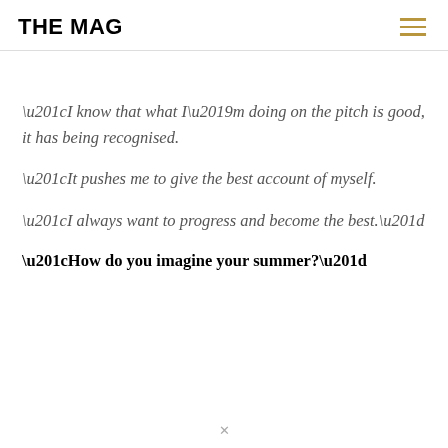THE MAG
“I know that what I’m doing on the pitch is good, it has being recognised.
“It pushes me to give the best account of myself.
“I always want to progress and become the best.”
“How do you imagine your summer?”